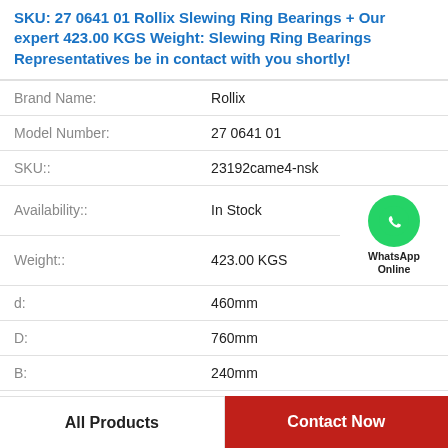SKU: 27 0641 01 Rollix Slewing Ring Bearings + Our expert 423.00 KGS Weight: Slewing Ring Bearings Representatives be in contact with you shortly!
| Field | Value |
| --- | --- |
| Brand Name: | Rollix |
| Model Number: | 27 0641 01 |
| SKU:: | 23192came4-nsk |
| Availability:: | In Stock |
| Weight:: | 423.00 KGS |
| d: | 460mm |
| D: | 760mm |
| B: | 240mm |
All Products    Contact Now